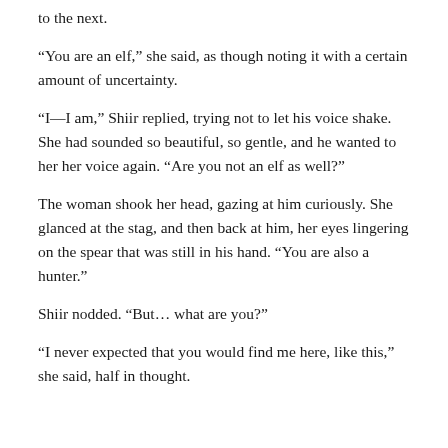to the next.
“You are an elf,” she said, as though noting it with a certain amount of uncertainty.
“I—I am,” Shiir replied, trying not to let his voice shake. She had sounded so beautiful, so gentle, and he wanted to her her voice again. “Are you not an elf as well?”
The woman shook her head, gazing at him curiously. She glanced at the stag, and then back at him, her eyes lingering on the spear that was still in his hand. “You are also a hunter.”
Shiir nodded. “But… what are you?”
“I never expected that you would find me here, like this,” she said, half in thought.